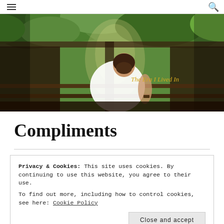Navigation bar with hamburger menu and search icon
[Figure (photo): Woman sitting on a wooden bench viewed from behind, looking out at lush green foliage through a covered outdoor structure. Text overlay reads 'The Era I Lived In' in gold italic font.]
Compliments
Privacy & Cookies: This site uses cookies. By continuing to use this website, you agree to their use.
To find out more, including how to control cookies, see here: Cookie Policy
Close and accept